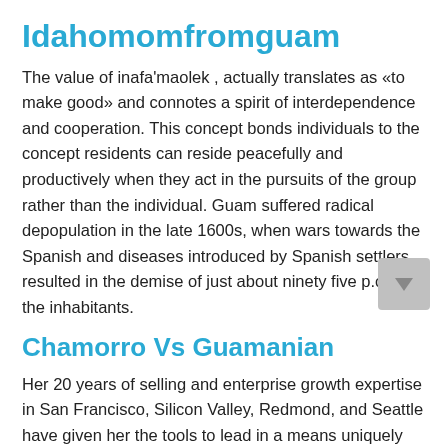Idahomomfromguam
The value of inafa'maolek , actually translates as «to make good» and connotes a spirit of interdependence and cooperation. This concept bonds individuals to the concept residents can reside peacefully and productively when they act in the pursuits of the group rather than the individual. Guam suffered radical depopulation in the late 1600s, when wars towards the Spanish and diseases introduced by Spanish settlers resulted in the demise of just about ninety five p.c of the inhabitants.
Chamorro Vs Guamanian
Her 20 years of selling and enterprise growth expertise in San Francisco, Silicon Valley, Redmond, and Seattle have given her the tools to lead in a means uniquely